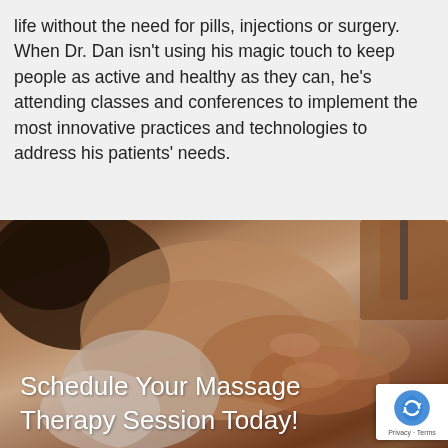life without the need for pills, injections or surgery. When Dr. Dan isn't using his magic touch to keep people as active and healthy as they can, he's attending classes and conferences to implement the most innovative practices and technologies to address his patients' needs.
[Figure (photo): Close-up photo of a massage therapist's hands working on a patient's neck and shoulder area, warm skin tones.]
Schedule Your Massage Therapy Session Today!